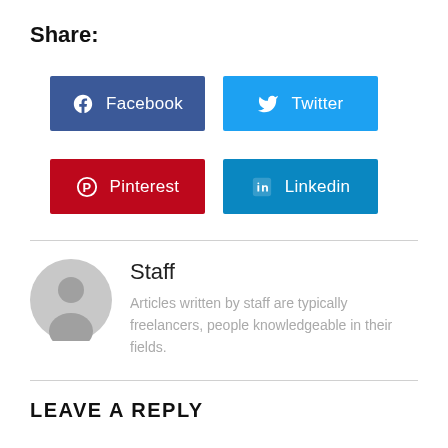Share:
[Figure (infographic): Social share buttons: Facebook (dark blue), Twitter (light blue), Pinterest (red), LinkedIn (teal blue)]
Staff
Articles written by staff are typically freelancers, people knowledgeable in their fields.
LEAVE A REPLY